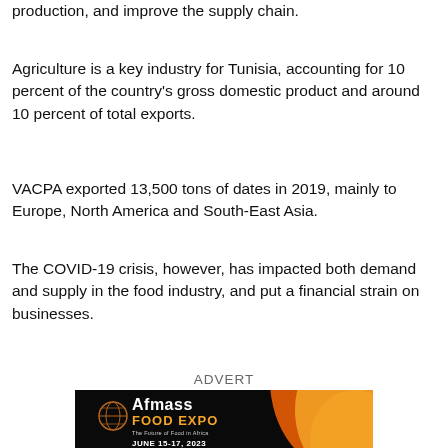production, and improve the supply chain.
Agriculture is a key industry for Tunisia, accounting for 10 percent of the country’s gross domestic product and around 10 percent of total exports.
VACPA exported 13,500 tons of dates in 2019, mainly to Europe, North America and South-East Asia.
The COVID-19 crisis, however, has impacted both demand and supply in the food industry, and put a financial strain on businesses.
ADVERT
[Figure (other): Afmass Food Expo advertisement banner - The Future of Food in Africa, JUNE 15-17, 2023]